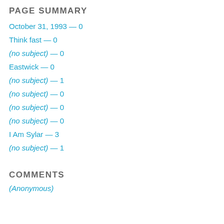PAGE SUMMARY
October 31, 1993 — 0
Think fast — 0
(no subject) — 0
Eastwick — 0
(no subject) — 1
(no subject) — 0
(no subject) — 0
(no subject) — 0
I Am Sylar — 3
(no subject) — 1
COMMENTS
(Anonymous)